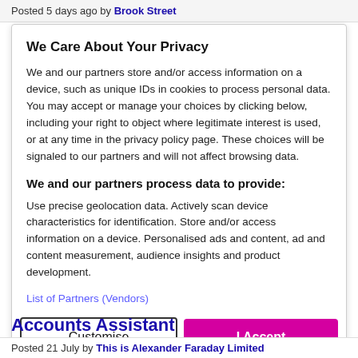Posted 5 days ago by Brook Street
We Care About Your Privacy
We and our partners store and/or access information on a device, such as unique IDs in cookies to process personal data. You may accept or manage your choices by clicking below, including your right to object where legitimate interest is used, or at any time in the privacy policy page. These choices will be signaled to our partners and will not affect browsing data.
We and our partners process data to provide:
Use precise geolocation data. Actively scan device characteristics for identification. Store and/or access information on a device. Personalised ads and content, ad and content measurement, audience insights and product development.
List of Partners (Vendors)
Customise
I Accept
Accounts Assistant
Posted 21 July by This is Alexander Faraday Limited